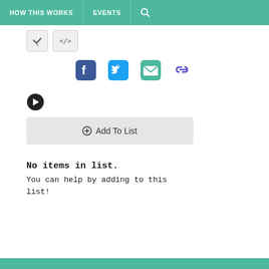HOW THIS WORKS  EVENTS  🔍
[Figure (screenshot): Two small icon buttons (checkmark and code/embed icon) in light gray rounded boxes]
[Figure (screenshot): Social share icons: Facebook (blue), Twitter (cyan), Email (teal/green envelope), Chain/link (purple)]
[Figure (screenshot): Black circle with right-facing arrow (navigation button)]
[Figure (screenshot): Gray rounded rectangle button with plus icon and text 'Add To List']
No items in list.
You can help by adding to this list!